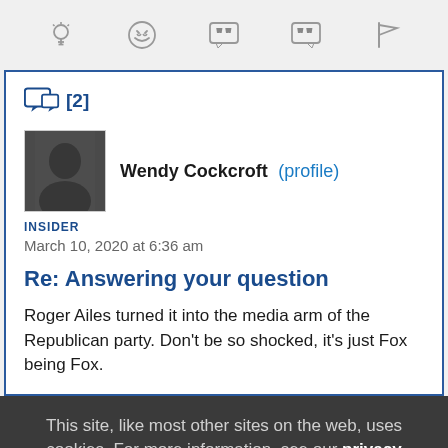[Figure (other): Toolbar with five icons: lightbulb, laughing emoji, open-quote speech bubble, close-quote speech bubble, flag]
[Figure (other): Reply icon with count [2]]
[Figure (photo): Avatar photo of Wendy Cockcroft, a person in dark clothing]
Wendy Cockcroft (profile)
INSIDER
March 10, 2020 at 6:36 am
Re: Answering your question
Roger Ailes turned it into the media arm of the Republican party. Don't be so shocked, it's just Fox being Fox.
This site, like most other sites on the web, uses cookies. For more information, see our privacy policy
GOT IT